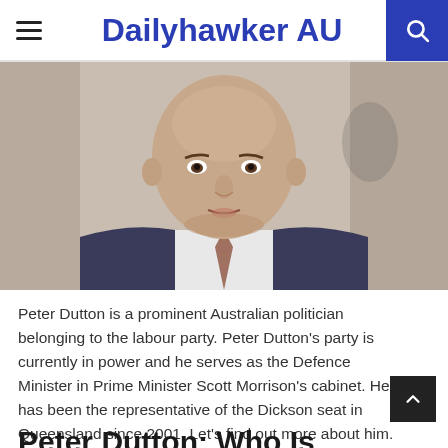Dailyhawker AU
[Figure (photo): Close-up photo of Peter Dutton, a bald man in a dark suit with a tie, speaking outdoors with a blurred architectural background]
Peter Dutton is a prominent Australian politician belonging to the labour party. Peter Dutton's party is currently in power and he serves as the Defence Minister in Prime Minister Scott Morrison's cabinet. He has been the representative of the Dickson seat in Queensland since 2001. Let's find out more about him.
Peter Dutton: Who Is This...